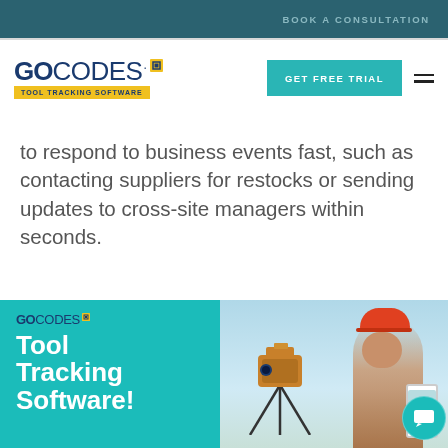BOOK A CONSULTATION
[Figure (logo): GoCodes Tool Tracking Software logo with yellow square icon and yellow tagline bar]
GET FREE TRIAL
to respond to business events fast, such as contacting suppliers for restocks or sending updates to cross-site managers within seconds.
[Figure (infographic): GoCodes Tool Tracking Software promotional banner with teal background showing logo, headline 'Tool Tracking Software!' and photo of construction worker with surveying equipment and smartphone]